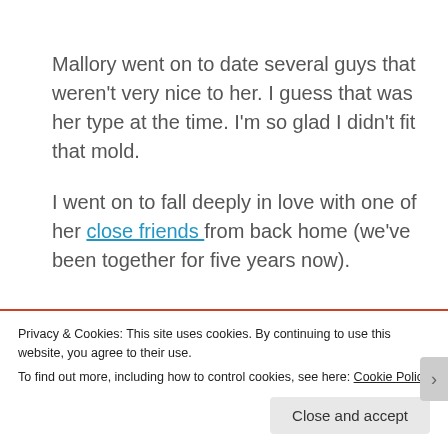Mallory went on to date several guys that weren't very nice to her.  I guess that was her type at the time.  I'm so glad I didn't fit that mold.
I went on to fall deeply in love with one of her close friends from back home (we've been together for five years now).
Advertisements
Privacy & Cookies: This site uses cookies. By continuing to use this website, you agree to their use.
To find out more, including how to control cookies, see here: Cookie Policy